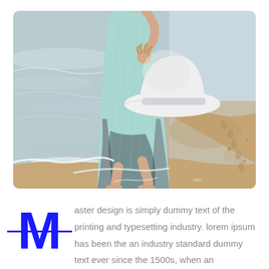[Figure (photo): A woman in a light teal/mint ombre dress walking barefoot on a sandy beach, holding a white sun hat in her hand. The ocean waves can be seen to the left, and footprints are visible in the sand.]
Master design is simply dummy text of the printing and typesetting industry. lorem ipsum has been the an industry standard dummy text ever since the 1500s, when an